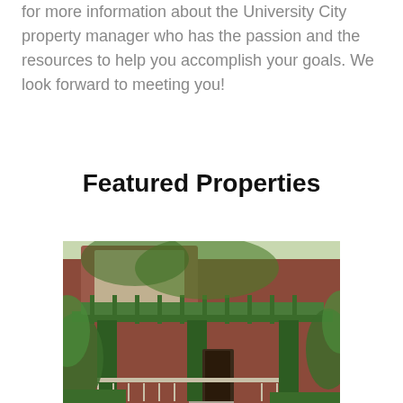for more information about the University City property manager who has the passion and the resources to help you accomplish your goals. We look forward to meeting you!
Featured Properties
[Figure (photo): Exterior photo of a brick house with a green-painted front porch, green columns, and surrounding greenery/trees.]